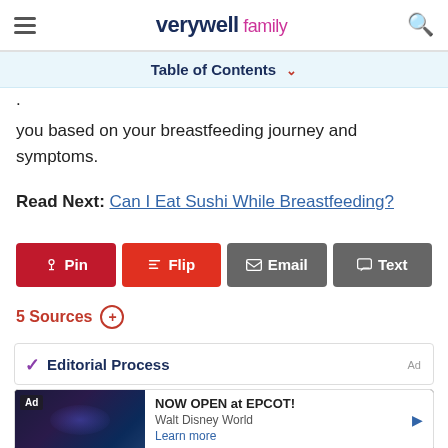verywell family
Table of Contents
you based on your breastfeeding journey and symptoms.
Read Next: Can I Eat Sushi While Breastfeeding?
Pin  Flip  Email  Text
5 Sources
Editorial Process
Ad  NOW OPEN at EPCOT!  Walt Disney World  Learn more